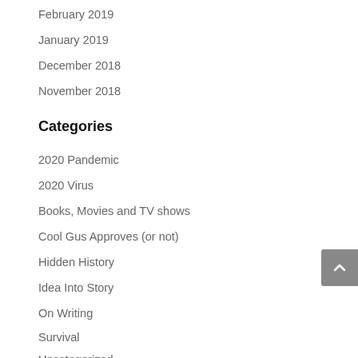February 2019
January 2019
December 2018
November 2018
Categories
2020 Pandemic
2020 Virus
Books, Movies and TV shows
Cool Gus Approves (or not)
Hidden History
Idea Into Story
On Writing
Survival
Uncategorized